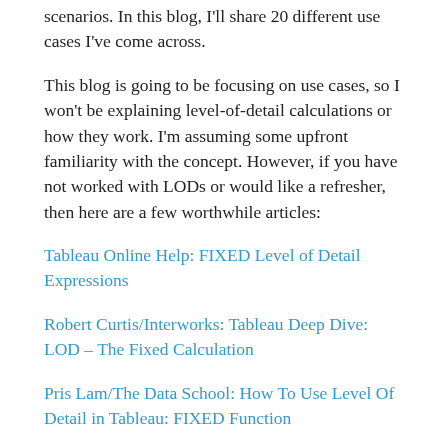scenarios. In this blog, I'll share 20 different use cases I've come across.
This blog is going to be focusing on use cases, so I won't be explaining level-of-detail calculations or how they work. I'm assuming some upfront familiarity with the concept. However, if you have not worked with LODs or would like a refresher, then here are a few worthwhile articles:
Tableau Online Help: FIXED Level of Detail Expressions
Robert Curtis/Interworks: Tableau Deep Dive: LOD – The Fixed Calculation
Pris Lam/The Data School: How To Use Level Of Detail in Tableau: FIXED Function
Before getting started, a few quick notes. First of all, I've published a workbook on Tableau Public which includes all of the examples shown below. I'll also be referencing additional examples from